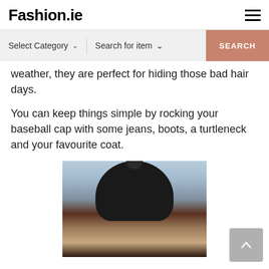Fashion.ie
Select Category   Search for item   SEARCH
weather, they are perfect for hiding those bad hair days.
You can keep things simple by rocking your baseball cap with some jeans, boots, a turtleneck and your favourite coat.
[Figure (photo): Woman wearing a black knit beanie hat with a pom-pom on top, photographed outdoors against a building backdrop.]